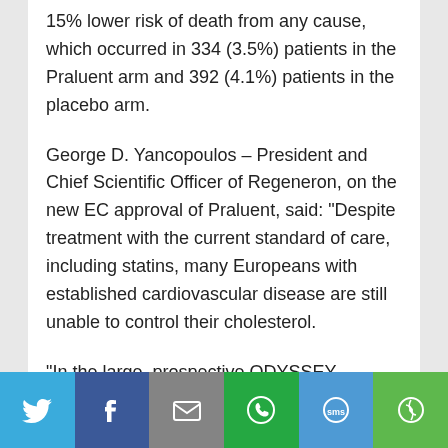15% lower risk of death from any cause, which occurred in 334 (3.5%) patients in the Praluent arm and 392 (4.1%) patients in the placebo arm.
George D. Yancopoulos – President and Chief Scientific Officer of Regeneron, on the new EC approval of Praluent, said: "Despite treatment with the current standard of care, including statins, many Europeans with established cardiovascular disease are still unable to control their cholesterol.
"In the large, prospective ODYSSEY OUTCOMES clinical trial, Praluent reduced the risk of major
[Figure (infographic): Social sharing bar with six buttons: Twitter (blue), Facebook (dark blue), Email (grey), WhatsApp (green), SMS (light blue), More (green)]